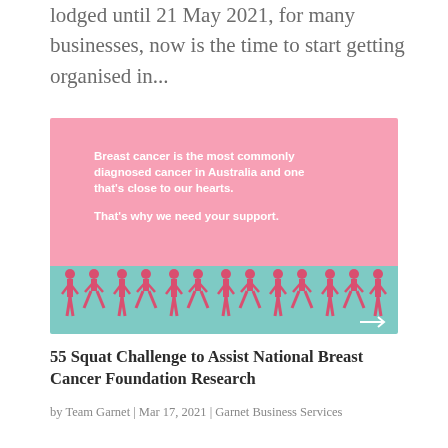lodged until 21 May 2021, for many businesses, now is the time to start getting organised in...
[Figure (illustration): Pink and teal promotional image for breast cancer awareness. Pink upper section with white text reading 'Breast cancer is the most commonly diagnosed cancer in Australia and one that’s close to our hearts. That’s why we need your support.' Teal lower section showing a repeating pattern of illustrated figures doing squats, with a right-arrow icon in the bottom right corner.]
55 Squat Challenge to Assist National Breast Cancer Foundation Research
by Team Garnet | Mar 17, 2021 | Garnet Business Services